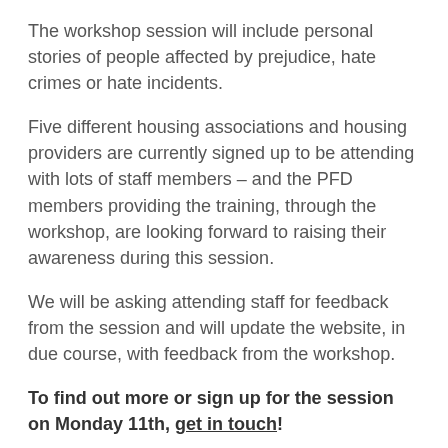The workshop session will include personal stories of people affected by prejudice, hate crimes or hate incidents.
Five different housing associations and housing providers are currently signed up to be attending with lots of staff members – and the PFD members providing the training, through the workshop, are looking forward to raising their awareness during this session.
We will be asking attending staff for feedback from the session and will update the website, in due course, with feedback from the workshop.
To find out more or sign up for the session on Monday 11th, get in touch!
pfdorset  10th Oct 2021  Uncategorized